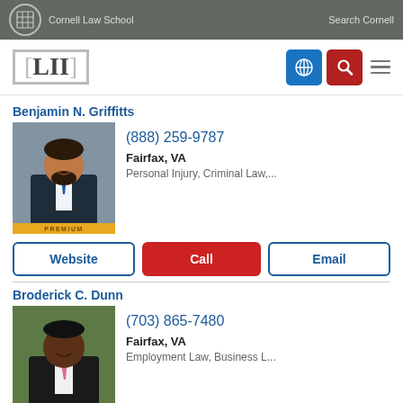Cornell Law School | Search Cornell
[Figure (logo): LII Legal Information Institute logo with Cornell Law School header navigation]
Benjamin N. Griffitts
[Figure (photo): Professional headshot of Benjamin N. Griffitts, a man in suit with blue tie, PREMIUM badge at bottom]
(888) 259-9787
Fairfax, VA
Personal Injury, Criminal Law,...
Website | Call | Email
Broderick C. Dunn
[Figure (photo): Professional headshot of Broderick C. Dunn, a man in dark suit with pink tie, PREMIUM badge at bottom]
(703) 865-7480
Fairfax, VA
Employment Law, Business L...